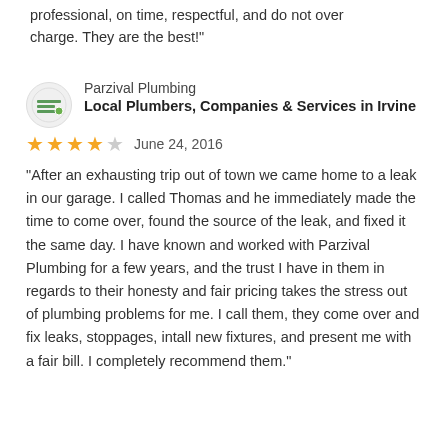professional, on time, respectful, and do not over charge. They are the best!"
Parzival Plumbing
Local Plumbers, Companies & Services in Irvine
★★★★☆   June 24, 2016
"After an exhausting trip out of town we came home to a leak in our garage. I called Thomas and he immediately made the time to come over, found the source of the leak, and fixed it the same day. I have known and worked with Parzival Plumbing for a few years, and the trust I have in them in regards to their honesty and fair pricing takes the stress out of plumbing problems for me. I call them, they come over and fix leaks, stoppages, intall new fixtures, and present me with a fair bill. I completely recommend them."